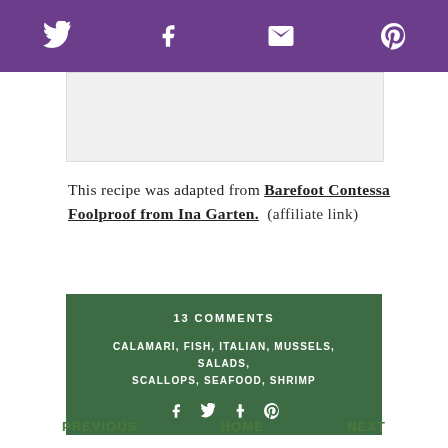Social share bar with Twitter, Facebook, Email, Pinterest icons
[Figure (other): Advertisement placeholder box]
This recipe was adapted from Barefoot Contessa Foolproof from Ina Garten. (affiliate link)
13 COMMENTS
CALAMARI, FISH, ITALIAN, MUSSELS, SALADS, SCALLOPS, SEAFOOD, SHRIMP
[Figure (other): Social share icons: Facebook, Twitter, Tumblr, Pinterest]
PREVIOUS   HOME   NEXT